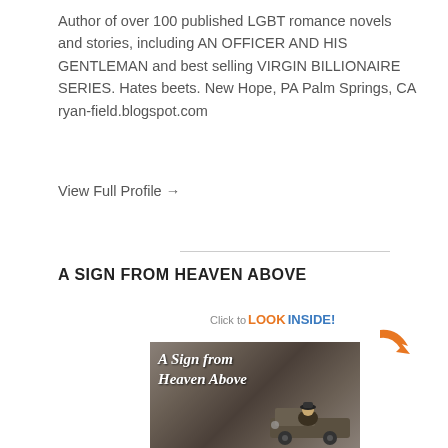Author of over 100 published LGBT romance novels and stories, including AN OFFICER AND HIS GENTLEMAN and best selling VIRGIN BILLIONAIRE SERIES. Hates beets. New Hope, PA Palm Springs, CA ryan-field.blogspot.com
View Full Profile →
A SIGN FROM HEAVEN ABOVE
[Figure (illustration): Book cover for 'A Sign from Heaven Above' showing two people sitting in front of a vintage truck, with a 'Click to LOOK INSIDE!' badge overlaid on the top right corner with an orange arrow. The book cover title is written in white italic script.]